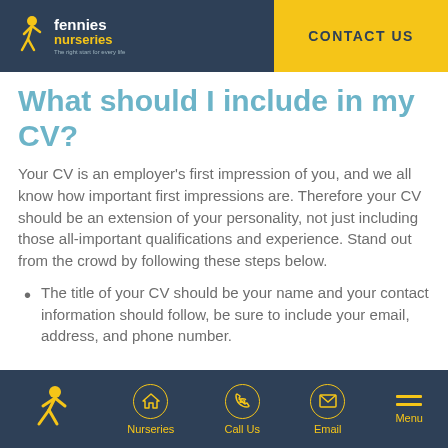[Figure (logo): Fennies Nurseries logo with yellow figure icon, white 'fennies' text and yellow 'nurseries' text on dark blue background]
CONTACT US
What should I include in my CV?
Your CV is an employer's first impression of you, and we all know how important first impressions are. Therefore your CV should be an extension of your personality, not just including those all-important qualifications and experience. Stand out from the crowd by following these steps below.
The title of your CV should be your name and your contact information should follow, be sure to include your email, address, and phone number.
[Figure (illustration): Fennies Nurseries footer navigation bar with yellow running figure logo, and navigation icons for Nurseries, Call Us, Email, and Menu on dark blue background]